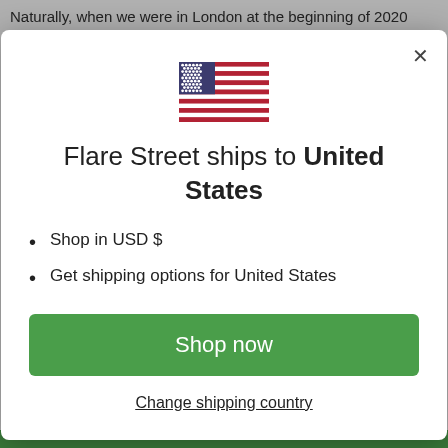Naturally, when we were in London at the beginning of 2020 for Fashion Week, we popped into the Tom & Derry's building
[Figure (screenshot): Modal dialog popup on a website showing a US flag, text 'Flare Street ships to United States', bullet points for USD and shipping options, a green 'Shop now' button, and a 'Change shipping country' link]
be found below.
AUD ▾